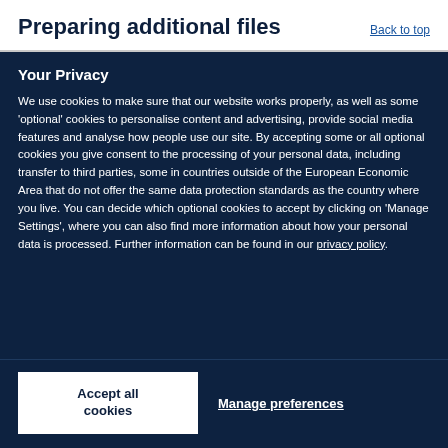Preparing additional files
Back to top
Your Privacy
We use cookies to make sure that our website works properly, as well as some 'optional' cookies to personalise content and advertising, provide social media features and analyse how people use our site. By accepting some or all optional cookies you give consent to the processing of your personal data, including transfer to third parties, some in countries outside of the European Economic Area that do not offer the same data protection standards as the country where you live. You can decide which optional cookies to accept by clicking on 'Manage Settings', where you can also find more information about how your personal data is processed. Further information can be found in our privacy policy.
Accept all cookies
Manage preferences